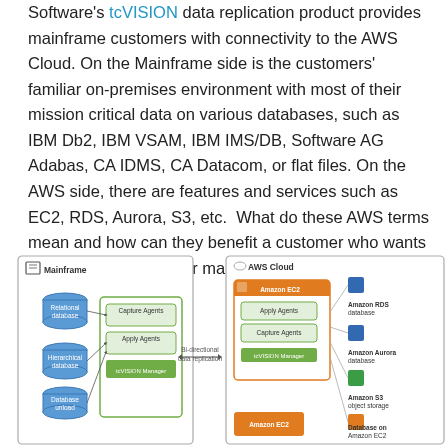Software's tcVISION data replication product provides mainframe customers with connectivity to the AWS Cloud. On the Mainframe side is the customers' familiar on-premises environment with most of their mission critical data on various databases, such as IBM Db2, IBM VSAM, IBM IMS/DB, Software AG Adabas, CA IDMS, CA Datacom, or flat files. On the AWS side, there are features and services such as EC2, RDS, Aurora, S3, etc. What do these AWS terms mean and how can they benefit a customer who wants to move data from their mainframe system to AWS?
[Figure (flowchart): Architecture diagram showing bi-directional data replication between Mainframe and AWS Cloud. On the Mainframe side: Relational database, Hierarchical database, Database unload feed into Capture Agents, Apply Agents, and tcVISION Manager. In the middle: Bi-directional data replication arrow. On the AWS Cloud side: Amazon EC2 instance with Apply Agents, Capture Agents, tcVISION Manager, connecting to Amazon RDS database, Amazon Aurora database, Amazon S3 object storage, Database on Amazon EC2, and another Amazon EC2.]